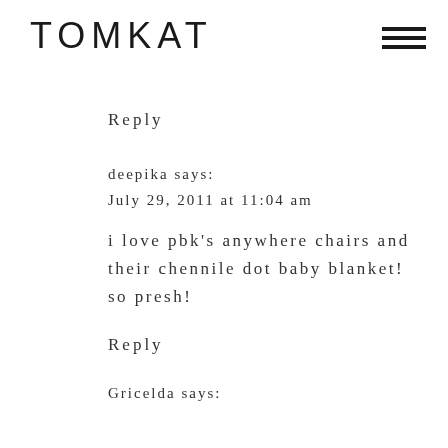TOMKAT
Reply
deepika says:
July 29, 2011 at 11:04 am
i love pbk's anywhere chairs and their chennile dot baby blanket! so presh!
Reply
Gricelda says: